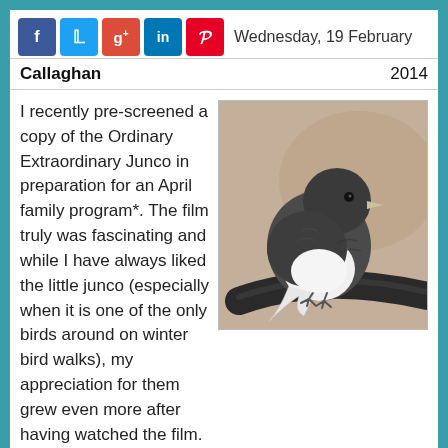[Figure (infographic): Social media share buttons: Facebook (blue), Twitter (light blue), Google+ (red), LinkedIn (blue), Pinterest (red)]
Wednesday, 19 February
Callaghan
2014
[Figure (photo): A dark-eyed junco bird with dark gray head and back, white belly, perched on a black metal bar/railing, against a blurred beige background]
I recently pre-screened a copy of the Ordinary Extraordinary Junco in preparation for an April family program*. The film truly was fascinating and while I have always liked the little junco (especially when it is one of the only birds around on winter bird walks), my appreciation for them grew even more after having watched the film. The rapid adaptation that juncos are undergoing as a species and their unbridled tenacity make them a really neat bird